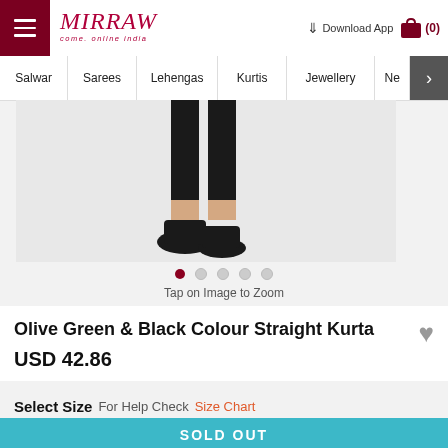MIRRAW - Come, online India | Salwar | Sarees | Lehengas | Kurtis | Jewellery | Download App | Cart (0)
[Figure (photo): Bottom portion of a model wearing black straight kurta with black pants and black flat shoes on a light grey background]
Tap on Image to Zoom
Olive Green & Black Colour Straight Kurta
USD 42.86
Select Size  For Help Check Size Chart
SOLD OUT